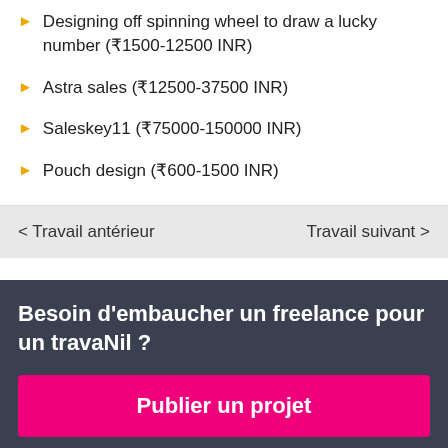Designing off spinning wheel to draw a lucky number (₹1500-12500 INR)
Astra sales (₹12500-37500 INR)
Saleskey11 (₹75000-150000 INR)
Pouch design (₹600-1500 INR)
< Travail antérieur
Travail suivant >
Besoin d'embaucher un freelance pour un travail ?
Publier un projet